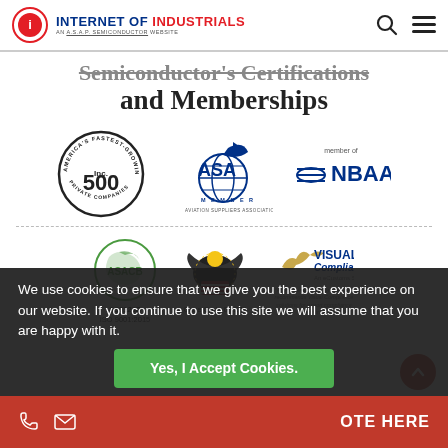INTERNET OF INDUSTRIALS — AN A.S.A.P. SEMICONDUCTOR WEBSITE
Semiconductor's Certifications and Memberships
[Figure (logo): Row of logos: Inc. 500 America's Fastest-Growing Private Companies, ASA Member Aviation Suppliers Association, member of NBAA]
[Figure (logo): Row of certification logos: ASACB AS9120B ISO 9001:2015, Cage Code 6RE77 (US government eagle seal), Visual Compliance An eCustoms Solution]
We use cookies to ensure that we give you the best experience on our website. If you continue to use this site we will assume that you are happy with it.
Yes, I Accept Cookies.
AS9120B, ISO 9001:2015 — FAA 8056B Accredited
OTE HERE